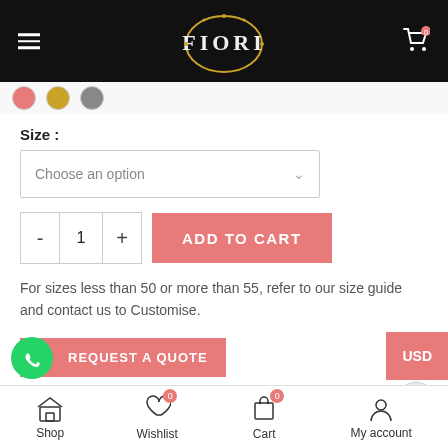Fiori
Size:
Choose an option
ADD TO CART
For sizes less than 50 or more than 55, refer to our size guide and contact us to Customise.
REQUEST A QUOTE
USD
Compare   Add to wishlist   Size Guide
Shop   Wishlist 0   Cart 0   My account